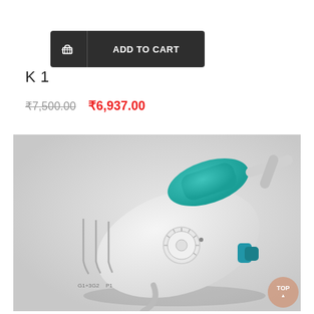[Figure (screenshot): Dark grey 'ADD TO CART' button with shopping cart icon on the left separated by a vertical divider]
K 1
₹7,500.00  ₹6,937.00
[Figure (photo): Product photo of a dental ultrasonic scaler unit (K1) — a white and teal device with a hand-piece, dial control, and three dental tips shown in the lower left labeled G1+3, G2, P1]